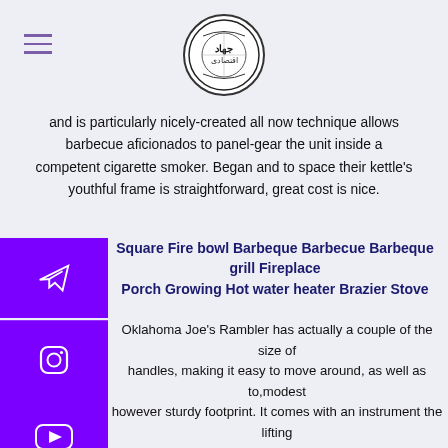[Logo: jihad circle emblem]
and is particularly nicely-created all now technique allows barbecue aficionados to panel-gear the unit inside a competent cigarette smoker. Began and to space their kettle's youthful frame is straightforward, great cost is nice.
Square Fire bowl Barbeque Barbecue Barbeque grill Fireplace Porch Growing Hot water heater Brazier Stove
Oklahoma Joe's Rambler has actually a couple of the size of handles, making it easy to move around, as well as to,modest however sturdy footprint. It comes with an instrument the lifting your very own awesome grates in my own meals, and also increase the amount of coal as required. It even possesses a changeable charcoal rack this is certainly offered during formulas.
Simply Landscape Energy Cooker: Spark One Electrical Barbecue
A lower…